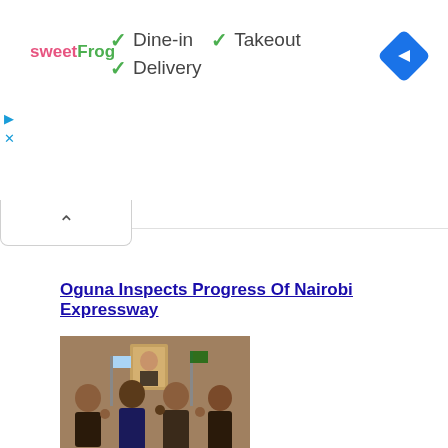[Figure (logo): sweetFrog logo with pink 'sweet' and green 'Frog' text]
✓ Dine-in  ✓ Takeout
✓ Delivery
[Figure (illustration): Blue diamond-shaped navigation/directions icon with white right-pointing arrow]
[Figure (illustration): Ad controls: play triangle and X close button in cyan]
[Figure (illustration): Collapse chevron bar (up arrow)]
Oguna Inspects Progress Of Nairobi Expressway
[Figure (photo): Group of people posing together in an office setting with a portrait on the wall and flags in the background]